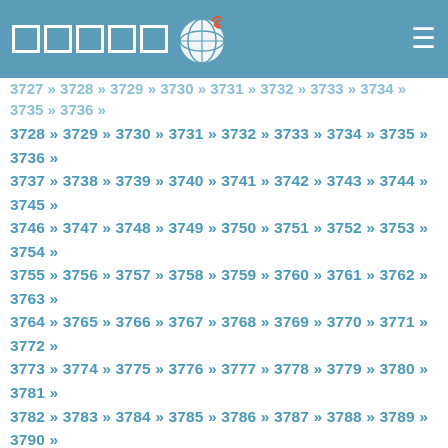Header with logo and navigation squares
3728 » 3729 » 3730 » 3731 » 3732 » 3733 » 3734 » 3735 » 3736 » 3737 » 3738 » 3739 » 3740 » 3741 » 3742 » 3743 » 3744 » 3745 » 3746 » 3747 » 3748 » 3749 » 3750 » 3751 » 3752 » 3753 » 3754 » 3755 » 3756 » 3757 » 3758 » 3759 » 3760 » 3761 » 3762 » 3763 » 3764 » 3765 » 3766 » 3767 » 3768 » 3769 » 3770 » 3771 » 3772 » 3773 » 3774 » 3775 » 3776 » 3777 » 3778 » 3779 » 3780 » 3781 » 3782 » 3783 » 3784 » 3785 » 3786 » 3787 » 3788 » 3789 » 3790 » 3791 » 3792 » 3793 » 3794 » 3795 » 3796 » 3797 » 3798 » 3799 » 3800 » 3801 » 3802 » 3803 » 3804 » 3805 » 3806 » 3807 » 3808 » 3809 » 3810 » 3811 » 3812 » 3813 » 3814 » 3815 » 3816 » 3817 » 3818 » 3819 » 3820 » 3821 » 3822 » 3823 » 3824 » 3825 » 3826 » 3827 » 3828 » 3829 » 3830 » 3831 » 3832 » 3833 » 3834 » 3835 » 3836 » 3837 » 3838 » 3839 » 3840 » 3841 » 3842 » 3843 » 3844 » 3845 » 3846 » 3847 » 3848 » 3849 » 3850 » 3851 » 3852 » 3853 » 3854 » 3855 » 3856 » 3857 » 3858 » 3859 » 3860 » 3861 » 3862 » 3863 » 3864 » 3865 » 3866 » 3867 » 3868 » 3869 » 3870 » 3871 » 3872 » 3873 » 3874 » 3875 » 3876 » 3877 » 3878 » 3879 » 3880 » 3881 » 3882 » 3883 » 3884 » 3885 » 3886 » 3887 » 3888 » 3889 » 3890 » 3891 » 3892 » 3893 » 3894 » 3895 » 3896 » 3897 » 3898 » 3899 » 3900 » 3901 » 3902 » 3903 » 3904 » 3905 » 3906 » 3907 » 3908 » 3909 » 3910 » 3911 » 3912 » 3913 » 3914 » 3915 » 3916